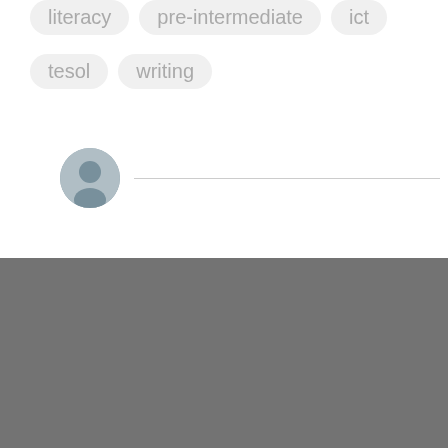literacy  pre-intermediate  ict
tesol  writing
[Figure (illustration): Circular user avatar icon with grey silhouette, followed by a horizontal line]
This site uses cookies from Google to deliver its services and to analyze traffic. Your IP address and user-agent are shared with Google along with performance and security metrics to ensure quality of service, generate usage statistics, and to detect and address abuse.
LEARN MORE    OK